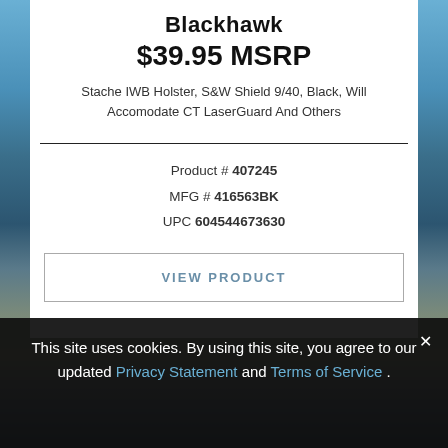Blackhawk
$39.95 MSRP
Stache IWB Holster, S&W Shield 9/40, Black, Will Accomodate CT LaserGuard And Others
Product # 407245
MFG # 416563BK
UPC 604544673630
VIEW PRODUCT
This site uses cookies. By using this site, you agree to our updated Privacy Statement and Terms of Service .